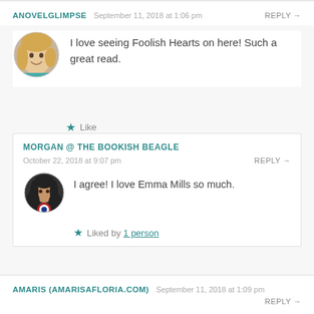ANOVELGLIMPSE   September 11, 2018 at 1:06 pm   REPLY →
[Figure (photo): Round avatar photo of a blonde woman smiling, cropped circle]
I love seeing Foolish Hearts on here! Such a great read.
★ Like
MORGAN @ THE BOOKISH BEAGLE
October 22, 2018 at 9:07 pm   REPLY →
[Figure (photo): Round avatar photo of a dark-haired woman, with Captain America shield visible]
I agree! I love Emma Mills so much.
★ Liked by 1 person
AMARIS (AMARISAFLORIA.COM)   September 11, 2018 at 1:09 pm   REPLY →